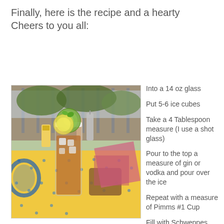Finally, here is the recipe and a hearty Cheers to you all:
[Figure (photo): A tall iced drink garnished with cucumber and lemon slices and mint, on a yellow patterned tablecloth, with bottles and cans visible in the background on a deck.]
Into a 14 oz glass
Put 5-6 ice cubes
Take a 4 Tablespoon measure (I use a shot glass)
Pour to the top a measure of gin or vodka and pour over the ice
Repeat with a measure of Pimms #1 Cup
Fill with Schweppes